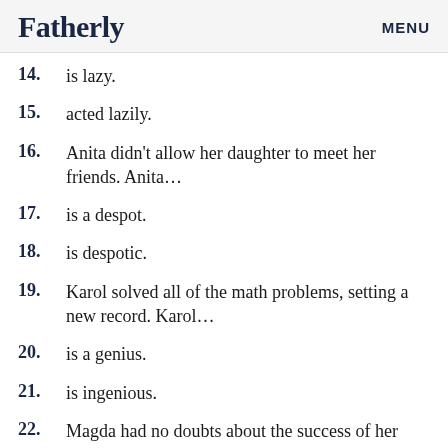Fatherly   MENU
14. is lazy.
15. acted lazily.
16. Anita didn't allow her daughter to meet her friends. Anita…
17. is a despot.
18. is despotic.
19. Karol solved all of the math problems, setting a new record. Karol…
20. is a genius.
21. is ingenious.
22. Magda had no doubts about the success of her